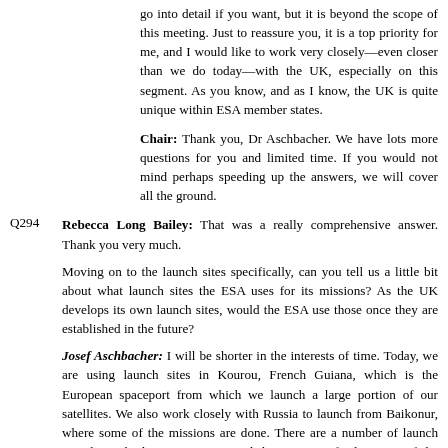go into detail if you want, but it is beyond the scope of this meeting. Just to reassure you, it is a top priority for me, and I would like to work very closely—even closer than we do today—with the UK, especially on this segment. As you know, and as I know, the UK is quite unique within ESA member states.
Chair: Thank you, Dr Aschbacher. We have lots more questions for you and limited time. If you would not mind perhaps speeding up the answers, we will cover all the ground.
Q294 Rebecca Long Bailey: That was a really comprehensive answer. Thank you very much.
Moving on to the launch sites specifically, can you tell us a little bit about what launch sites the ESA uses for its missions? As the UK develops its own launch sites, would the ESA use those once they are established in the future?
Josef Aschbacher: I will be shorter in the interests of time. Today, we are using launch sites in Kourou, French Guiana, which is the European spaceport from which we launch a large portion of our satellites. We also work closely with Russia to launch from Baikonur, where some of the missions are done. There are a number of launch sites being built up in Europe, and the UK is perfectly aware of the initiatives. Once they are ready to offer launchers, ESA spacecraft can be launched there. It will be a competitive process, of course, but, certainly, that is an option. We have a lot of medium and smaller satellites in the